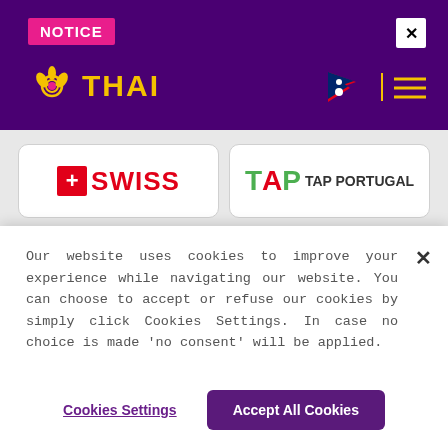NOTICE
[Figure (logo): Thai Airways logo with gold lotus/butterfly emblem and THAI wordmark in gold on purple background]
[Figure (logo): Swiss International Air Lines logo — red cross square and SWISS text in red]
[Figure (logo): TAP Portugal logo — stylized TAP letters in green and red with TAP PORTUGAL text]
[Figure (logo): Thai Airways card logo — gold emblem with THAI text in purple]
[Figure (logo): Partially visible airline logo row at bottom]
Our website uses cookies to improve your experience while navigating our website. You can choose to accept or refuse our cookies by simply click Cookies Settings. In case no choice is made 'no consent' will be applied.
Cookies Settings
Accept All Cookies